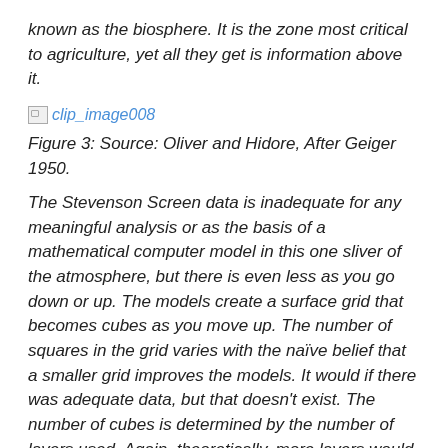known as the biosphere. It is the zone most critical to agriculture, yet all they get is information above it.
[Figure (other): Broken/missing image placeholder labeled clip_image008]
Figure 3: Source: Oliver and Hidore, After Geiger 1950.
The Stevenson Screen data is inadequate for any meaningful analysis or as the basis of a mathematical computer model in this one sliver of the atmosphere, but there is even less as you go down or up. The models create a surface grid that becomes cubes as you move up. The number of squares in the grid varies with the naïve belief that a smaller grid improves the models. It would if there was adequate data, but that doesn't exist. The number of cubes is determined by the number of layers used. Again, theoretically, more layers would yield better